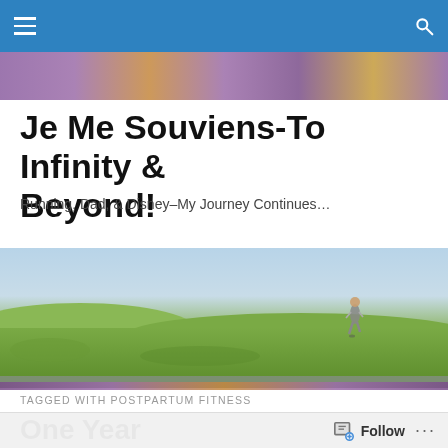Navigation bar with hamburger menu and search icon
[Figure (illustration): Purple and gold decorative banner strip at top of blog page]
Je Me Souviens-To Infinity & Beyond!
Running, Dad, & Disney–My Journey Continues…
[Figure (photo): A person running across a green grassy field with blue sky, wide landscape banner photo]
[Figure (illustration): Purple decorative strip below hero image]
TAGGED WITH POSTPARTUM FITNESS
One Year
Follow